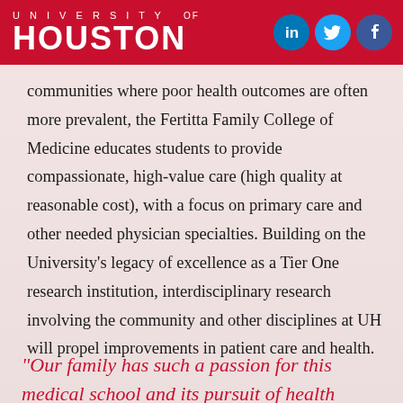UNIVERSITY of HOUSTON
communities where poor health outcomes are often more prevalent, the Fertitta Family College of Medicine educates students to provide compassionate, high-value care (high quality at reasonable cost), with a focus on primary care and other needed physician specialties. Building on the University's legacy of excellence as a Tier One research institution, interdisciplinary research involving the community and other disciplines at UH will propel improvements in patient care and health.
"Our family has such a passion for this medical school and its pursuit of health equity."